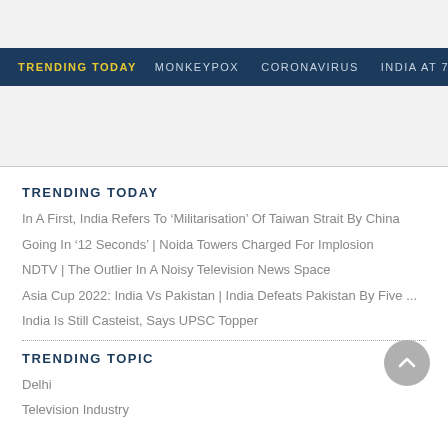TRENDING TODAY  MONKEYPOX  CORONAVIRUS  INDIA AT 75
TRENDING TODAY
In A First, India Refers To ‘Militarisation’ Of Taiwan Strait By China
Going In ‘12 Seconds’ | Noida Towers Charged For Implosion
NDTV | The Outlier In A Noisy Television News Space
Asia Cup 2022: India Vs Pakistan | India Defeats Pakistan By Five ...
India Is Still Casteist, Says UPSC Topper
TRENDING TOPIC
Delhi
Television Industry